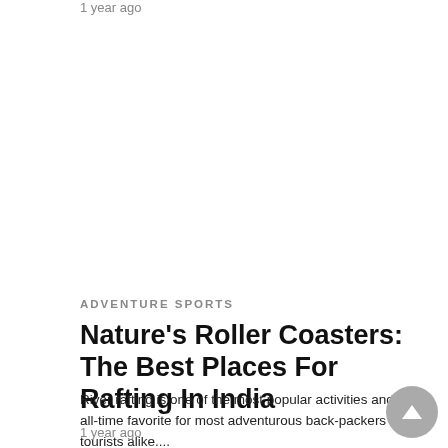1 year ago
ADVENTURE SPORTS
Nature's Roller Coasters: The Best Places For Rafting In India
River rafting is one of the most popular activities and an all-time favorite for most adventurous back-packers and tourists alike....
1 year ago